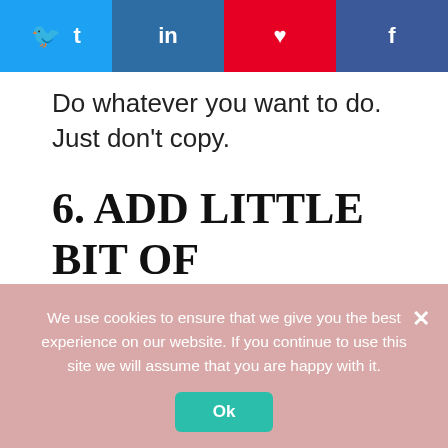[Figure (other): Social share bar with four buttons: Twitter (blue), LinkedIn (dark blue), Pinterest (red), Facebook (blue)]
Do whatever you want to do. Just don't copy.
6. ADD LITTLE BIT OF HUMOR!
Laughter is contagious! Trust me. You can earn additional benefits of being a funny blogger. People love to watch funny
We use cookies to ensure that we give you the best experience on our website. If you continue to use this site we will assume that you are happy with it.